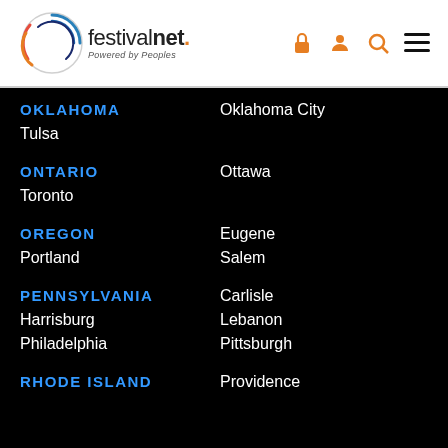[Figure (logo): FestivalNet logo with colorful circular icon and 'festivalnet.' text, 'Powered by Peoples' tagline. Navigation icons (lock, person, search, menu) in orange on the right.]
OKLAHOMA
Oklahoma City
Tulsa
ONTARIO
Ottawa
Toronto
OREGON
Eugene
Portland
Salem
PENNSYLVANIA
Carlisle
Harrisburg
Lebanon
Philadelphia
Pittsburgh
RHODE ISLAND
Providence